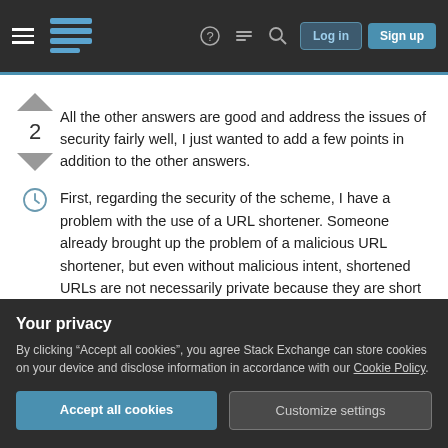Stack Exchange navigation bar with hamburger menu, logo, help, chat, search icons, Log in and Sign up buttons
All the other answers are good and address the issues of security fairly well, I just wanted to add a few points in addition to the other answers.
First, regarding the security of the scheme, I have a problem with the use of a URL shortener. Someone already brought up the problem of a malicious URL shortener, but even without malicious intent, shortened URLs are not necessarily private because they are short enough that the URL search space is subject to exhaustive search. And actually
Your privacy
By clicking "Accept all cookies", you agree Stack Exchange can store cookies on your device and disclose information in accordance with our Cookie Policy.
Accept all cookies
Customize settings